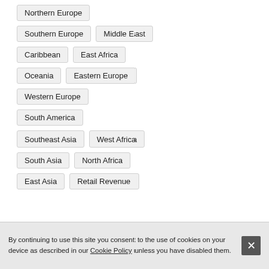Northern Europe
Southern Europe
Middle East
Caribbean
East Africa
Oceania
Eastern Europe
Western Europe
South America
Southeast Asia
West Africa
South Asia
North Africa
East Asia
Retail Revenue
By continuing to use this site you consent to the use of cookies on your device as described in our Cookie Policy unless you have disabled them.